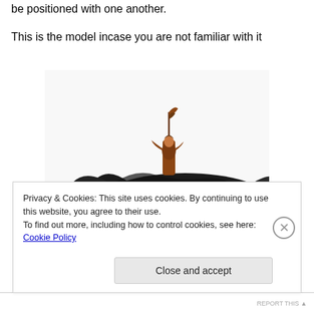be positioned with one another.
This is the model incase you are not familiar with it
[Figure (photo): A painted miniature figurine of a warrior/rider mounted on or interacting with a large black dragon or creature, shown against a white background.]
Privacy & Cookies: This site uses cookies. By continuing to use this website, you agree to their use.
To find out more, including how to control cookies, see here: Cookie Policy
Close and accept